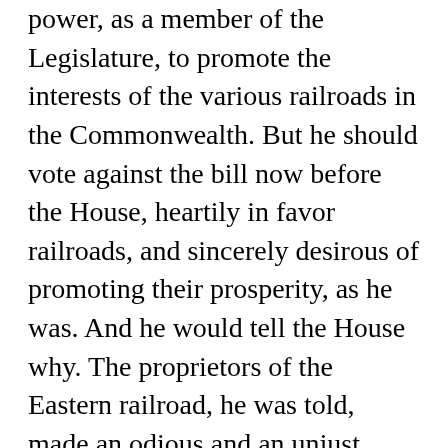power, as a member of the Legislature, to promote the interests of the various railroads in the Commonwealth. But he should vote against the bill now before the House, heartily in favor railroads, and sincerely desirous of promoting their prosperity, as he was. And he would tell the House why. The proprietors of the Eastern railroad, he was told, made an odious and an unjust distinction in their treatment of passengers, on account of mere differences of complexion. (A laugh - for the house seemed utterly unprepared for such an objection.) That railroad was built, in part, by the credit of the State; a credit, which was constituted by the labor and capitol of the colored, in common with those of the uncolored,